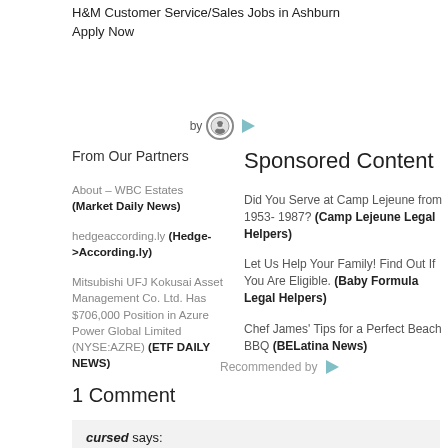H&M Customer Service/Sales Jobs in Ashburn Apply Now
[Figure (other): By attribution icons with a face emoji and play button]
From Our Partners
Sponsored Content
About – WBC Estates (Market Daily News)
hedgeaccording.ly (Hedge->According.ly)
Mitsubishi UFJ Kokusai Asset Management Co. Ltd. Has $706,000 Position in Azure Power Global Limited (NYSE:AZRE) (ETF DAILY NEWS)
Did You Serve at Camp Lejeune from 1953- 1987? (Camp Lejeune Legal Helpers)
Let Us Help Your Family! Find Out If You Are Eligible. (Baby Formula Legal Helpers)
Chef James' Tips for a Perfect Beach BBQ (BELatina News)
Recommended by
1 Comment
cursed says:
June 6, 2010 at 2:54 pm